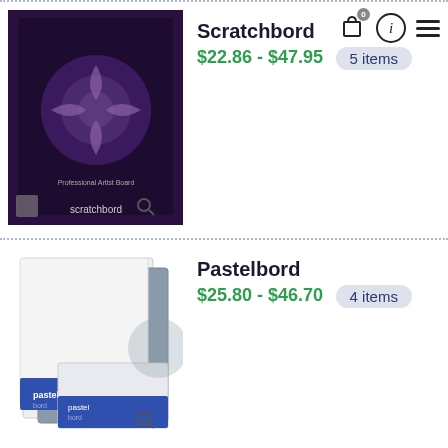[Figure (photo): Scratchbord product package image - dark purple background with scratchboard art]
Scratchbord
$22.86 - $47.95  5 items
[Figure (photo): Pastelbord product package - white and grey boards with blue label]
Pastelbord
$25.80 - $46.70  4 items
[Figure (photo): Unprimed Basswood panel product - tan/wood color with orange and black label showing portrait]
Unprimed Basswood
$30.80 - $39.50  3 items
Ivory/Bristol Board